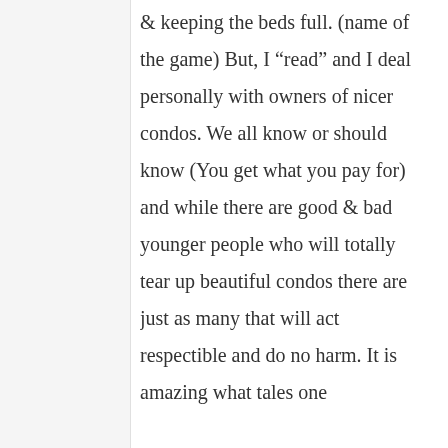& keeping the beds full. (name of the game) But, I “read” and I deal personally with owners of nicer condos. We all know or should know (You get what you pay for) and while there are good & bad younger people who will totally tear up beautiful condos there are just as many that will act respectible and do no harm. It is amazing what tales one